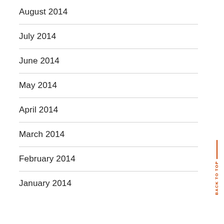August 2014
July 2014
June 2014
May 2014
April 2014
March 2014
February 2014
January 2014